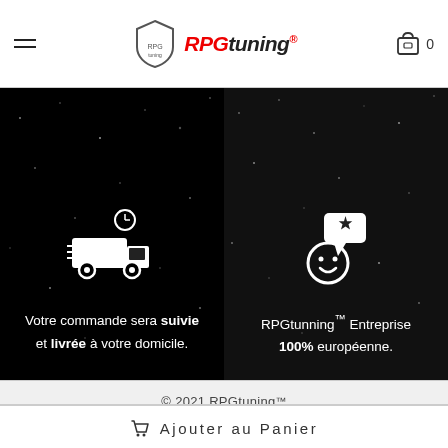RPGtuning®
[Figure (illustration): Left dark panel with starfield background and white delivery truck with clock icon]
Votre commande sera suivie et livrée à votre domicile.
[Figure (illustration): Right dark panel with starfield background and white smiley face with star review icon]
RPGtunning™ Entreprise 100% européenne.
© 2021 RPGtuning™
Ajouter au Panier